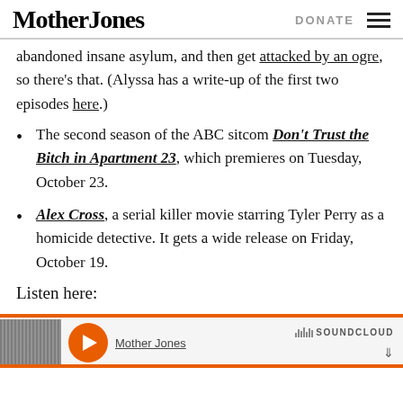Mother Jones | DONATE
abandoned insane asylum, and then get attacked by an ogre, so there’s that. (Alyssa has a write-up of the first two episodes here.)
The second season of the ABC sitcom Don’t Trust the Bitch in Apartment 23, which premieres on Tuesday, October 23.
Alex Cross, a serial killer movie starring Tyler Perry as a homicide detective. It gets a wide release on Friday, October 19.
Listen here:
[Figure (screenshot): SoundCloud audio player widget with orange play button, Mother Jones label, and SoundCloud logo]